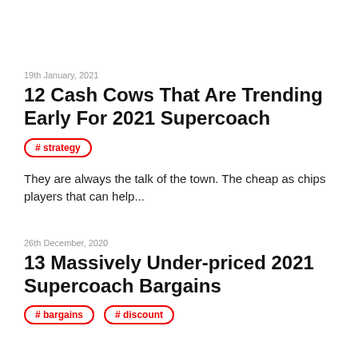19th January, 2021
12 Cash Cows That Are Trending Early For 2021 Supercoach
# strategy
They are always the talk of the town. The cheap as chips players that can help...
26th December, 2020
13 Massively Under-priced 2021 Supercoach Bargains
# bargains
# discount